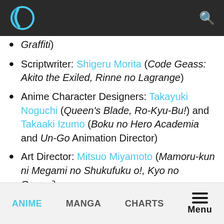Navigation bar with logo and search icon
Graffiti)
Scriptwriter: Shigeru Morita (Code Geass: Akito the Exiled, Rinne no Lagrange)
Anime Character Designers: Takayuki Noguchi (Queen's Blade, Ro-Kyu-Bu!) and Takaaki Izumo (Boku no Hero Academia and Un-Go Animation Director)
Art Director: Mitsuo Miyamoto (Mamoru-kun ni Megami no Shukufuku o!, Kyo no Gononi)
Music Composers: Akinari Suzuki (Debut) and Johannes Nilsson (Debut)
ANIME | MANGA | CHARTS | Menu